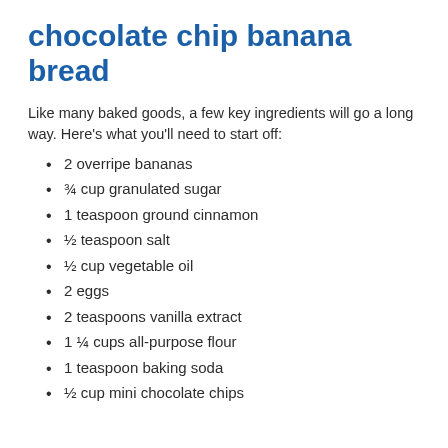chocolate chip banana bread
Like many baked goods, a few key ingredients will go a long way. Here’s what you’ll need to start off:
2 overripe bananas
¾ cup granulated sugar
1 teaspoon ground cinnamon
½ teaspoon salt
½ cup vegetable oil
2 eggs
2 teaspoons vanilla extract
1 ¼ cups all-purpose flour
1 teaspoon baking soda
½ cup mini chocolate chips